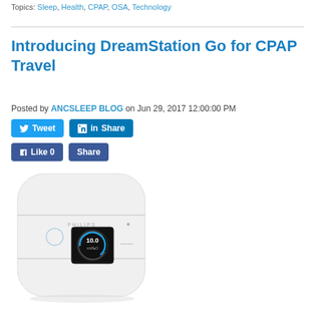Topics: Sleep, Health, CPAP, OSA, Technology
Introducing DreamStation Go for CPAP Travel
Posted by ANCSLEEP BLOG on Jun 29, 2017 12:00:00 PM
[Figure (photo): Philips DreamStation Go CPAP travel device, white rounded rectangular form factor with a small circular display showing 10.0 cmH2O reading]